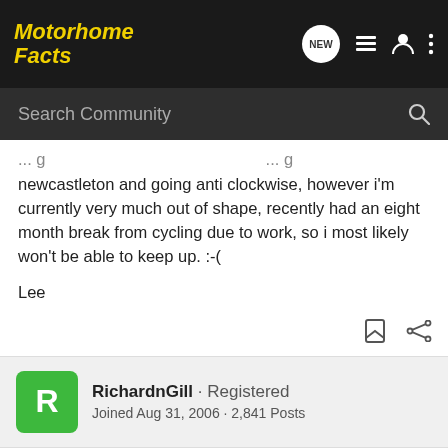Motorhome Facts
newcastleton and going anti clockwise, however i'm currently very much out of shape, recently had an eight month break from cycling due to work, so i most likely won't be able to keep up. :-(
Lee
RichardnGill · Registered
Joined Aug 31, 2006 · 2,841 Posts
#10 · Jul... Hi